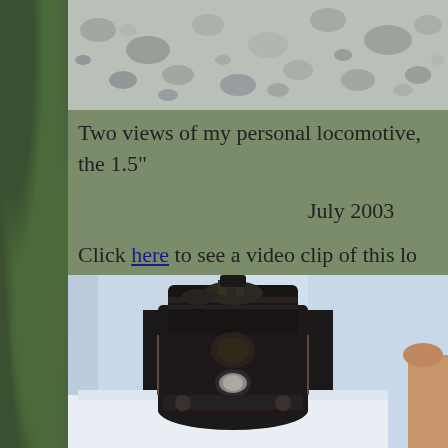[Figure (photo): Top portion of a photo showing gray gravel/ballast stones, cropped at top of page]
Two views of my personal locomotive, the 1.5"
July 2003
Click here to see a video clip of this lo
[Figure (photo): Front-on view of a detailed scale model steam locomotive, black colored, displayed indoors against a blue/white background. A person's hand is partially visible at the right edge.]